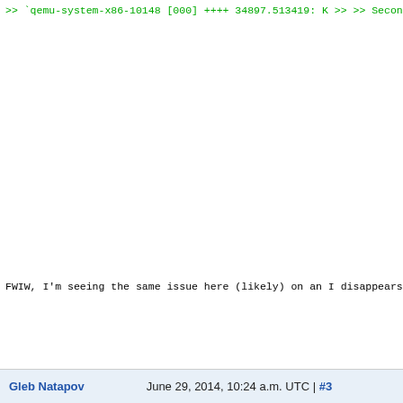>> Second #PF at the same address and kvm injects the
>>
>> BUT(!), why?
>>
>> I probably am missing something but WTH are we pa
>> user address in context_switch() while doing a lo
>> spin_release? We're not touching any userspace gu
>>
>> Is this an async pagefault or so which kvm is doi
>> rip is actually pointing at the wrong place?
>>
> There is nothing in the trace that point to async
>
>> Or something else I'm missing, most probably...
>>
> Strange indeed. Can you also enable kvmmmu tracing'
> kvm_multiple_exception() to see which two exceptio
>
FWIW, I'm seeing the same issue here (likely) on an
disappears with older KVM (didn't bisect yet, some 3
when patch-disabling the vmport in QEMU.

Let me know if I can help with the analysis.

Jan
Gleb Natapov   June 29, 2014, 10:24 a.m. UTC | #3